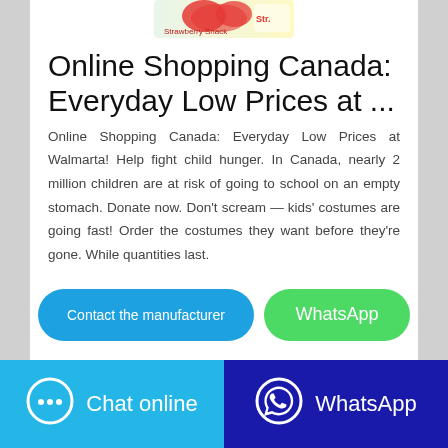[Figure (photo): Partial product image at top of page, appears to be a strawberry candy/snack package]
Online Shopping Canada: Everyday Low Prices at ...
Online Shopping Canada: Everyday Low Prices at Walmarta! Help fight child hunger. In Canada, nearly 2 million children are at risk of going to school on an empty stomach. Donate now. Don't scream — kids' costumes are going fast! Order the costumes they want before they're gone. While quantities last.
Contact the manufacturer
WhatsApp
Chat online
WhatsApp